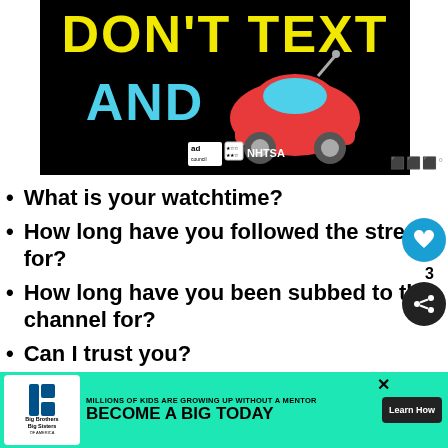[Figure (illustration): Black background ad image with yellow text 'DON'T TEXT' and cyan text 'AND' with a red car emoji, and ad council / NHTSA logos at the bottom.]
What is your watchtime?
How long have you followed the stream for?
How long have you been subbed to the channel for?
Can I trust you?
[Figure (infographic): Bottom advertisement banner for Big Brothers Big Sisters: 'MILLIONS OF KIDS ARE GROWING UP WITHOUT A MENTOR. BECOME A BIG TODAY' with Learn How button.]